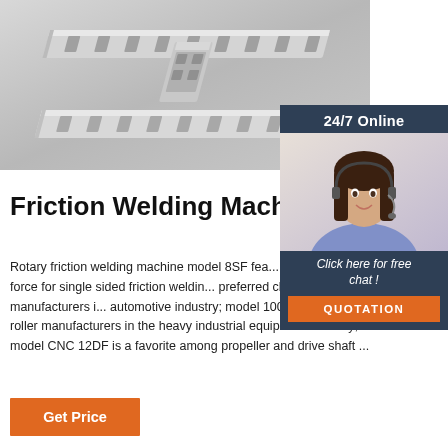[Figure (photo): Product photo of aluminum extrusion profiles / linear guide rails on a grey background]
24/7 Online
[Figure (photo): Photo of a smiling female customer service representative wearing a headset]
Click here for free chat !
QUOTATION
Friction Welding Machines
Rotary friction welding machine model 8SF features 8 ton forging force for single sided friction welding; it is preferred choice for camshaft manufacturers in the automotive industry; model 100SF is widely used by roller manufacturers in the heavy industrial equipment industry; model CNC 12DF is a favorite among propeller and drive shaft ...
Get Price